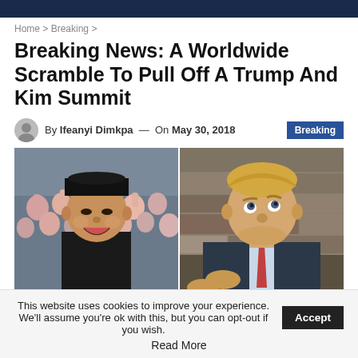Home > Breaking >
Breaking News: A Worldwide Scramble To Pull Off A Trump And Kim Summit
By Ifeanyi Dimkpa — On May 30, 2018   Breaking
[Figure (photo): Side-by-side photo: Kim Jong-un smiling and clapping on the left, Donald Trump looking upward and clapping on the right]
This website uses cookies to improve your experience. We'll assume you're ok with this, but you can opt-out if you wish.   Accept
Read More